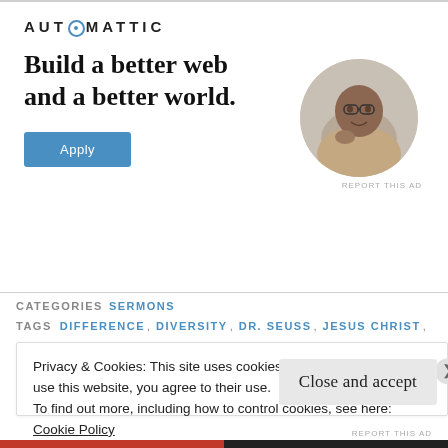[Figure (logo): Automattic logo with stylized letter O as a target/circle icon, all caps with letter spacing]
Build a better web and a better world.
[Figure (photo): Circular cropped photo of a Black man with glasses, resting chin on hand, looking upward thoughtfully, seated at a desk]
Apply
REPORT THIS AD
CATEGORIES SERMONS
TAGS DIFFERENCE, DIVERSITY, DR. SEUSS, JESUS CHRIST,
Privacy & Cookies: This site uses cookies. By continuing to use this website, you agree to their use.
To find out more, including how to control cookies, see here:
Cookie Policy
Close and accept
REPORT THIS AD